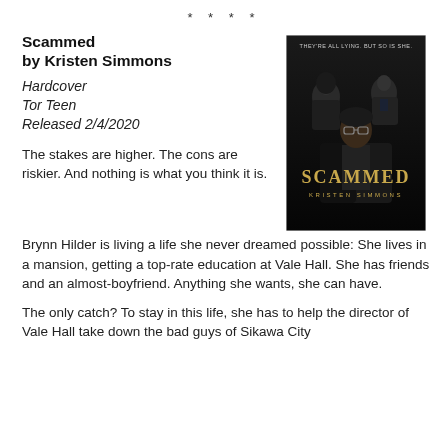* * * *
Scammed
by Kristen Simmons
Hardcover
Tor Teen
Released 2/4/2020
[Figure (photo): Book cover of 'Scammed' by Kristen Simmons (Tor Teen). Dark background with three young people — two in the back (a woman and a man) and one in the foreground (a man with glasses in a leather jacket). Gold text reads 'SCAMMED' and below it 'KRISTEN SIMMONS'. Tagline at the top: 'THEY'RE ALL LYING. BUT SO IS SHE.']
The stakes are higher. The cons are riskier. And nothing is what you think it is.
Brynn Hilder is living a life she never dreamed possible: She lives in a mansion, getting a top-rate education at Vale Hall. She has friends and an almost-boyfriend. Anything she wants, she can have.
The only catch? To stay in this life, she has to help the director of Vale Hall take down the bad guys of Sikawa City by collecting compromising intel on them.